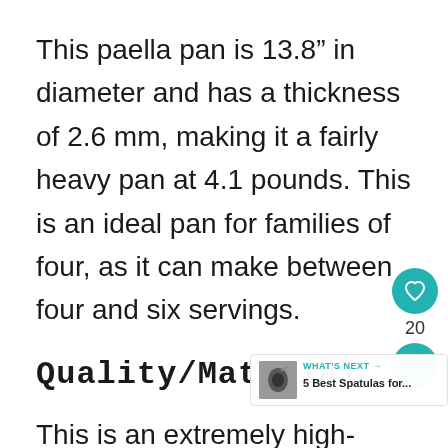This paella pan is 13.8” in diameter and has a thickness of 2.6 mm, making it a fairly heavy pan at 4.1 pounds. This is an ideal pan for families of four, as it can make between four and six servings.
Quality/Material
This is an extremely high-quality paella pan made of 5 ply sta… steel. The company was created in
[Figure (infographic): Floating UI elements: a teal circular heart/like button, a count of 20, a teal circular share button, and a 'What's Next' overlay showing '5 Best Spatulas for...' with an arrow icon image.]